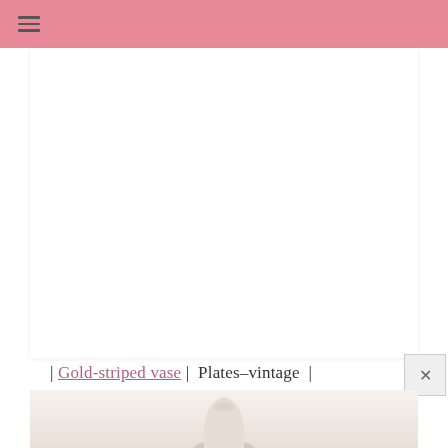≡
[Figure (other): White card / content area placeholder]
| Gold-striped vase |  Plates–vintage  |  Frame & Apothecary Jar {HomeGoods}
[Figure (photo): Bottom partial photo showing a vase or decorative object on a light background]